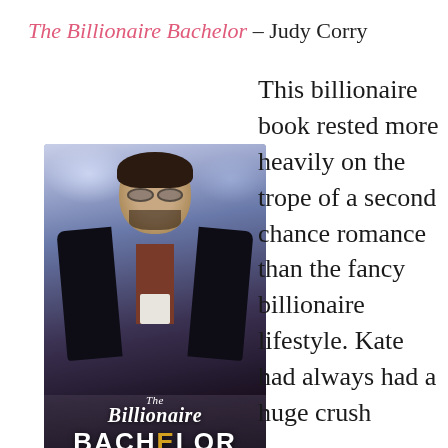The Billionaire Bachelor – Judy Corry
[Figure (photo): Book cover for 'The Billionaire Bachelor' by Judy Corry, part of the Matched with a Billionaire Series. Shows a man in sunglasses and black leather jacket with text overlaid.]
This billionaire book rested more heavily on the trope of a second chance romance than the fancy billionaire lifestyle. Kate had always had a huge crush